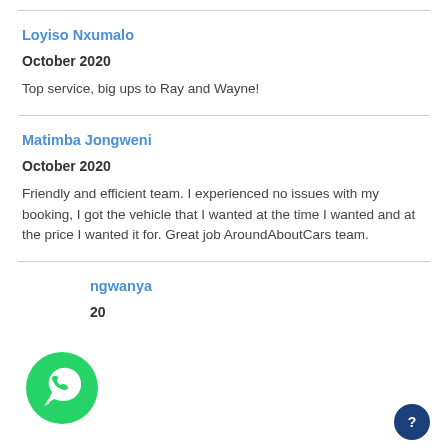Loyiso Nxumalo
October 2020
Top service, big ups to Ray and Wayne!
Matimba Jongweni
October 2020
Friendly and efficient team. I experienced no issues with my booking, I got the vehicle that I wanted at the time I wanted and at the price I wanted it for. Great job AroundAboutCars team.
Th...ngwanya
O...20
[Figure (illustration): WhatsApp chat icon overlay (green circle with white phone handset)]
[Figure (illustration): Dark blue circular help/question-mark button in bottom-right corner]